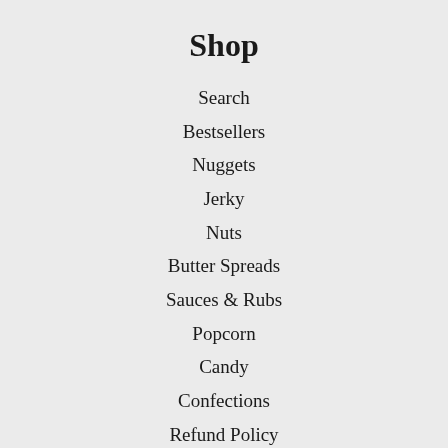Shop
Search
Bestsellers
Nuggets
Jerky
Nuts
Butter Spreads
Sauces & Rubs
Popcorn
Candy
Confections
Refund Policy
Terms of Service
Shop Some More!